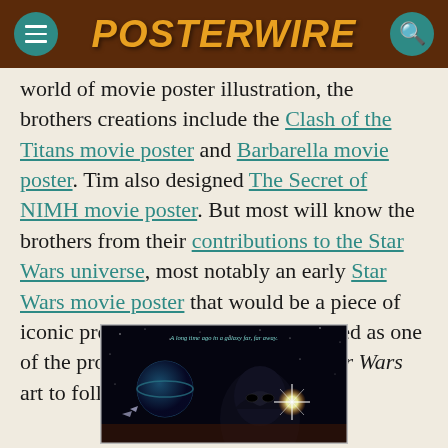POSTERWIRE
world of movie poster illustration, the brothers creations include the Clash of the Titans movie poster and Barbarella movie poster. Tim also designed The Secret of NIMH movie poster. But most will know the brothers from their contributions to the Star Wars universe, most notably an early Star Wars movie poster that would be a piece of iconic promotional artwork and served as one of the prototypes for much of the Star Wars art to follow.
[Figure (photo): Star Wars movie poster showing Darth Vader with text 'A long time ago in a galaxy far far away.' at the top, featuring space imagery with planets and spacecraft]